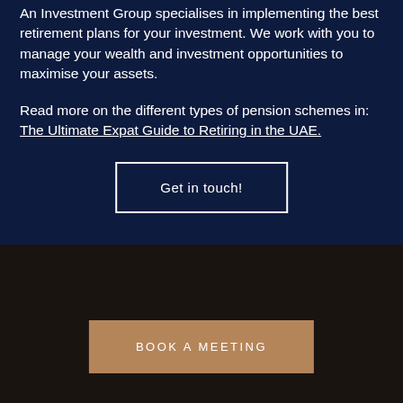An Investment Group specialises in implementing the best retirement plans for your investment. We work with you to manage your wealth and investment opportunities to maximise your assets.
Read more on the different types of pension schemes in: The Ultimate Expat Guide to Retiring in the UAE.
Get in touch!
BOOK A MEETING